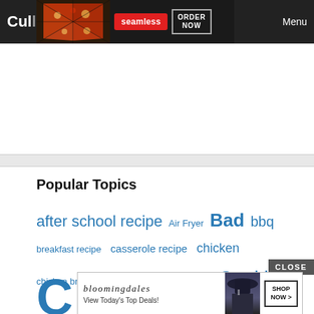Cull | seamless | ORDER NOW | Menu
[Figure (screenshot): Website screenshot showing a food delivery ad banner with pizza image, Seamless logo, ORDER NOW button, and Menu link on dark background.]
Popular Topics
after school recipe  Air Fryer  Bad  bbq  breakfast recipe  casserole recipe  chicken  chicken breast  chicken recipe  Cooking  C...
[Figure (photo): Bloomingdale's ad banner with fashion model in hat and SHOP NOW button]